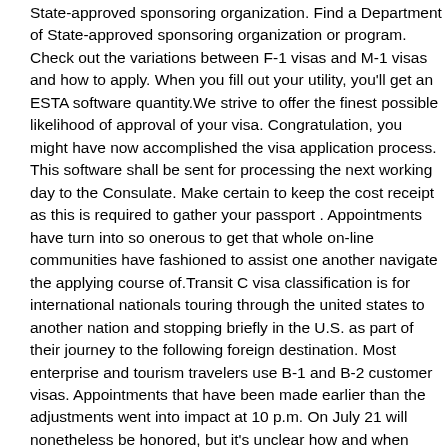State-approved sponsoring organization. Find a Department of State-approved sponsoring organization or program. Check out the variations between F-1 visas and M-1 visas and how to apply. When you fill out your utility, you'll get an ESTA software quantity.We strive to offer the finest possible likelihood of approval of your visa. Congratulation, you might have now accomplished the visa application process. This software shall be sent for processing the next working day to the Consulate. Make certain to keep the cost receipt as this is required to gather your passport . Appointments have turn into so onerous to get that whole on-line communities have fashioned to assist one another navigate the applying course of.Transit C visa classification is for international nationals touring through the united states to another nation and stopping briefly in the U.S. as part of their journey to the following foreign destination. Most enterprise and tourism travelers use B-1 and B-2 customer visas. Appointments that have been made earlier than the adjustments went into impact at 10 p.m. On July 21 will nonetheless be honored, but it's unclear how and when vacationers with a life-or-death need can reasonably expect to get an appointment. In https://www.chinovisa.com.tw/china-visa/ shared